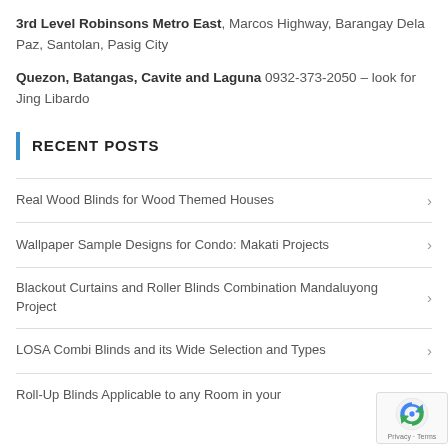3rd Level Robinsons Metro East, Marcos Highway, Barangay Dela Paz, Santolan, Pasig City
Quezon, Batangas, Cavite and Laguna 0932-373-2050 – look for Jing Libardo
RECENT POSTS
Real Wood Blinds for Wood Themed Houses
Wallpaper Sample Designs for Condo: Makati Projects
Blackout Curtains and Roller Blinds Combination Mandaluyong Project
LOSA Combi Blinds and its Wide Selection and Types
Roll-Up Blinds Applicable to any Room in your